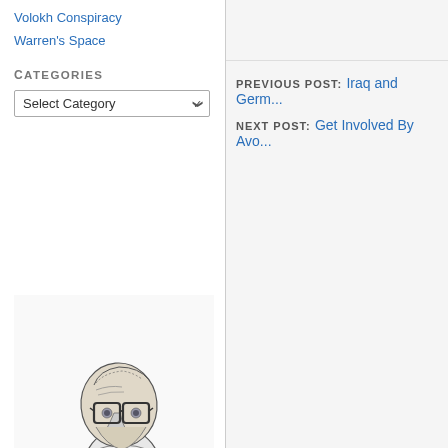Volokh Conspiracy
Warren's Space
Categories
Select Category
PREVIOUS POST: Iraq and Germ...
NEXT POST: Get Involved By Avo...
[Figure (illustration): Black and white caricature illustration of a man with glasses hunched over a laptop computer, drawn in a sketchy editorial cartoon style, signed by the artist (Garchiez or similar).]